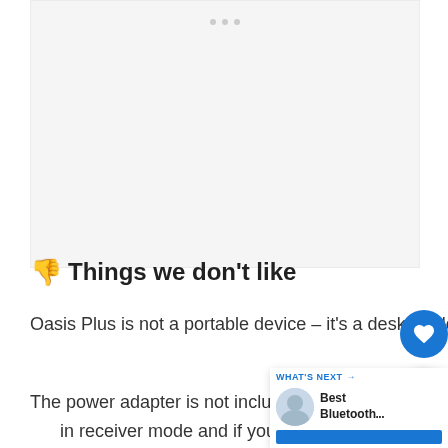[Figure (other): Advertisement placeholder with three grey dots at top center on a light grey background]
👎 Things we don't like
Oasis Plus is not a portable device – it's a desktop device without a built-in battery and can't be used on the go.
The power adapter is not included in the package, so you should probably buy one. If you are using the device in receiver mode and if you get power supply from your